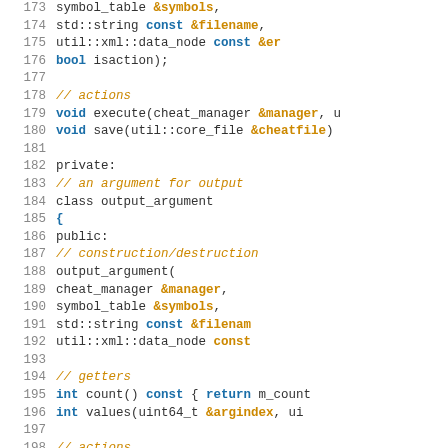[Figure (screenshot): Source code listing showing C++ class definition with line numbers 173-199, featuring syntax highlighting with blue keywords and orange references/comments.]